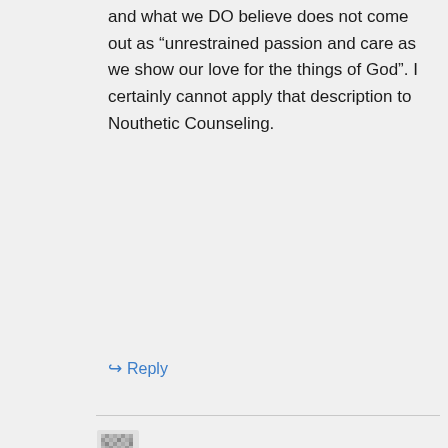and what we DO believe does not come out as “unrestrained passion and care as we show our love for the things of God”. I certainly cannot apply that description to Nouthetic Counseling.
↳ Reply
Anonymous on 3rd October 2012 at 9:13 pm
This struck a chord with me as I have just finished reading a book on critical thinking. It’s not something promoted much in Christian circles. That is rather ironic, considering